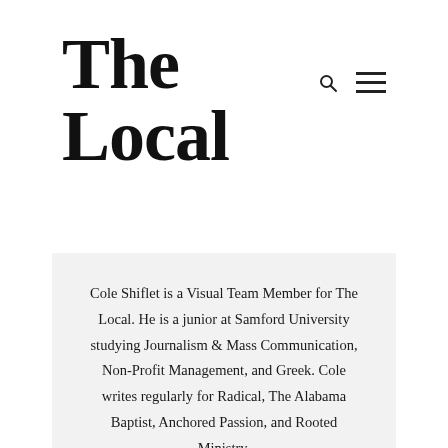The Local
Cole Shiflet is a Visual Team Member for The Local. He is a junior at Samford University studying Journalism & Mass Communication, Non-Profit Management, and Greek. Cole writes regularly for Radical, The Alabama Baptist, Anchored Passion, and Rooted Ministry.